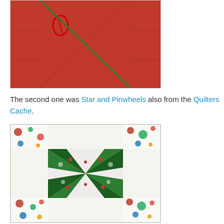[Figure (photo): Christmas quilt block with red fabric and black fabric with candy canes, featuring large triangles in a pinwheel/star pattern]
The second one was Star and Pinwheels also from the Quilters Cache.
[Figure (photo): Star and Pinwheels quilt block with white, green holly fabric, and colorful polka dot fabric arranged in a star and pinwheel pattern]